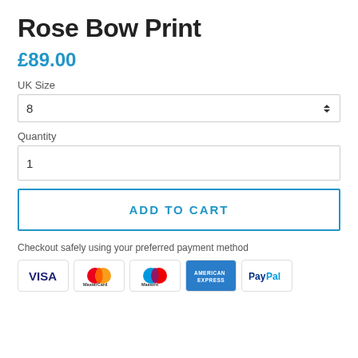Rose Bow Print
£89.00
UK Size
8
Quantity
1
ADD TO CART
Checkout safely using your preferred payment method
[Figure (infographic): Payment method icons: VISA, MasterCard, Maestro, American Express, PayPal]